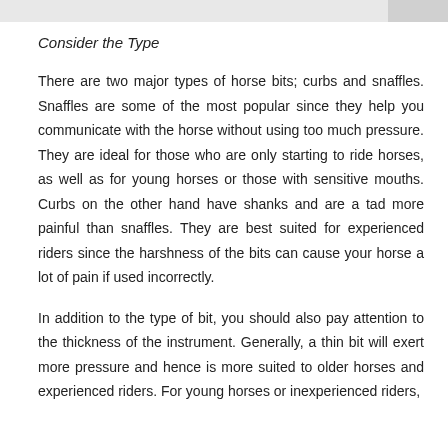Consider the Type
There are two major types of horse bits; curbs and snaffles. Snaffles are some of the most popular since they help you communicate with the horse without using too much pressure. They are ideal for those who are only starting to ride horses, as well as for young horses or those with sensitive mouths. Curbs on the other hand have shanks and are a tad more painful than snaffles. They are best suited for experienced riders since the harshness of the bits can cause your horse a lot of pain if used incorrectly.
In addition to the type of bit, you should also pay attention to the thickness of the instrument. Generally, a thin bit will exert more pressure and hence is more suited to older horses and experienced riders. For young horses or inexperienced riders,